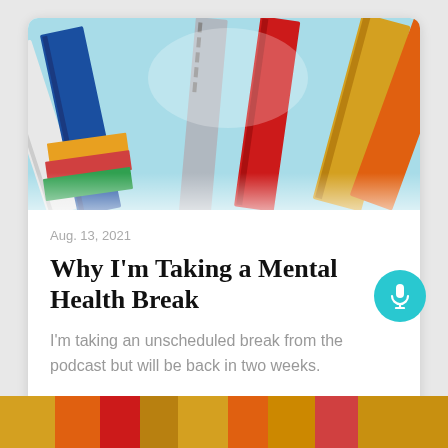[Figure (photo): Photo of colorful books standing upright against a light blue background, viewed from a low angle]
Aug. 13, 2021
Why I'm Taking a Mental Health Break
I'm taking an unscheduled break from the podcast but will be back in two weeks.
→ Episode page
[Figure (photo): Partial bottom strip showing tops of colorful books]